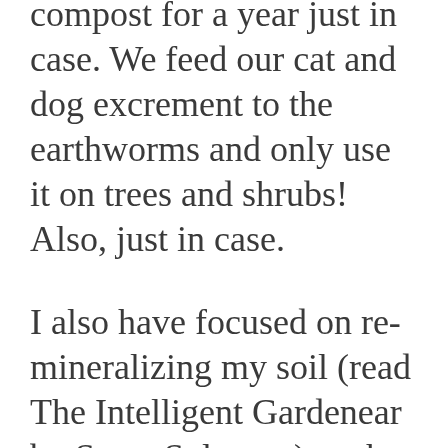compost for a year just in case. We feed our cat and dog excrement to the earthworms and only use it on trees and shrubs! Also, just in case.
I also have focused on re-mineralizing my soil (read The Intelligent Gardenear by Steve Solomon) so that once the loop is completely closed all of our compost really will be enough to keep our soil healthy!